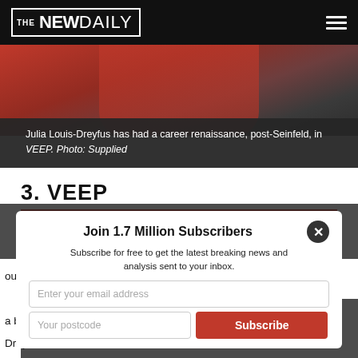THE NEW DAILY
[Figure (photo): Julia Louis-Dreyfus in a red jacket, cropped photo from a news article]
Julia Louis-Dreyfus has had a career renaissance, post-Seinfeld, in VEEP. Photo: Supplied
3. VEEP
Showcase
The only person who could possibly translate Armando
was Julia Louis-Dreyfus. She has stepped out of the shadow of Seinfeld to stand alone as a brilliant, dark sat... Julia Louis-Dreyfus and her ensemble all continually need to flex their
Join 1.7 Million Subscribers
Subscribe for free to get the latest breaking news and analysis sent to your inbox.